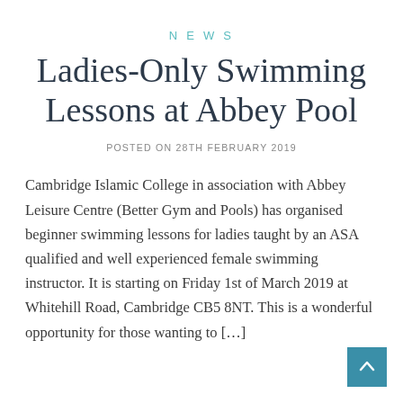NEWS
Ladies-Only Swimming Lessons at Abbey Pool
POSTED ON 28TH FEBRUARY 2019
Cambridge Islamic College in association with Abbey Leisure Centre (Better Gym and Pools) has organised beginner swimming lessons for ladies taught by an ASA qualified and well experienced female swimming instructor. It is starting on Friday 1st of March 2019 at Whitehill Road, Cambridge CB5 8NT. This is a wonderful opportunity for those wanting to […]